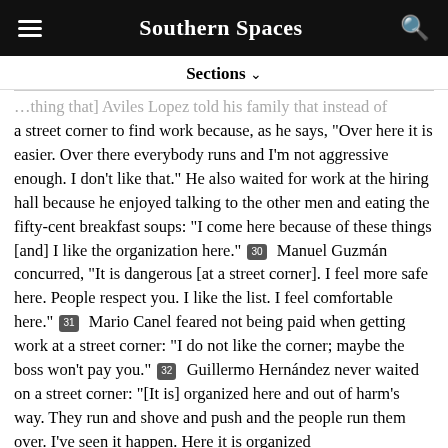Southern Spaces
Sections ∨
...thing that] Aviles Lopez told his family that instead of a street corner to find work because, as he says, "Over here it is easier. Over there everybody runs and I'm not aggressive enough. I don't like that." He also waited for work at the hiring hall because he enjoyed talking to the other men and eating the fifty-cent breakfast soups: "I come here because of these things [and] I like the organization here." [30] Manuel Guzmán concurred, "It is dangerous [at a street corner]. I feel more safe here. People respect you. I like the list. I feel comfortable here." [31] Mario Canel feared not being paid when getting work at a street corner: "I do not like the corner; maybe the boss won't pay you." [32] Guillermo Hernández never waited on a street corner: "[It is] organized here and out of harm's way. They run and shove and push and the people run them over. I've seen it happen. Here it is organized